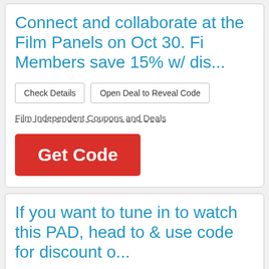Connect and collaborate at the Film Panels on Oct 30. Fi Members save 15% w/ dis...
Check Details
Open Deal to Reveal Code
Film Independent Coupons and Deals
Get Code
If you want to tune in to watch this PAD, head to & use code for discount o...
Check Details
Open Deal to Reveal Code
Brian Rast Coupons and Deals